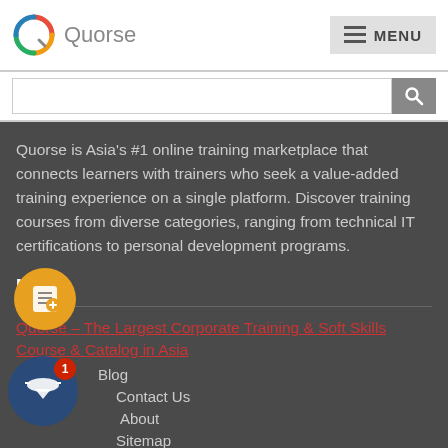Quorse — MENU
Quorse is Asia's #1 online training marketplace that connects learners with trainers who seek a value-added training experience on a single platform. Discover training courses from diverse categories, ranging from technical IT certifications to personal development programs.
MAIN
Quorse – The Largest Corporate Training & Soft Skills Course & Catalog in Asia
Blog
Contact Us
About
Sitemap